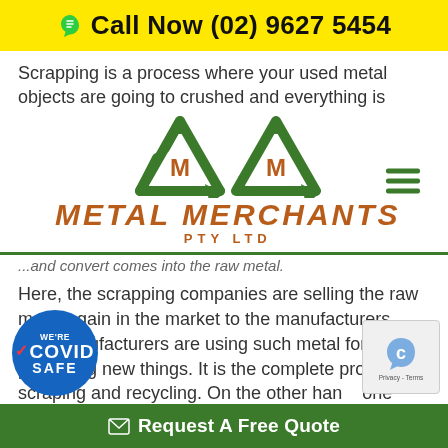📞 Call Now (02) 9627 5454
Scrapping is a process where your used metal objects are going to crushed and everything is
[Figure (logo): Metal Merchants PTY LTD logo with two green recycling arrow triangles containing the letter M, brand name in brown italic uppercase text, hamburger menu icon on the right]
...and convert comes into the raw metal.
Here, the scrapping companies are selling the raw metal again in the market to the manufacturers. The manufacturers are using such metal for producing new things. It is the complete process of scraping and recycling. On the other hand, one does not take such an action and ke...
[Figure (logo): COVID Safe badge - blue circular badge with WE'RE COVID SAFE text]
[Figure (other): reCAPTCHA widget with robot icon and Privacy - Terms text]
✉ Request A Free Quote